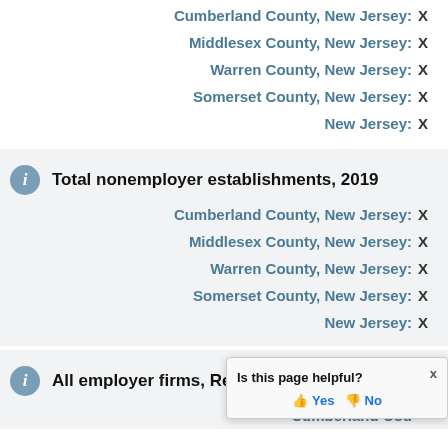Cumberland County, New Jersey: X
Middlesex County, New Jersey: X
Warren County, New Jersey: X
Somerset County, New Jersey: X
New Jersey: X
Total nonemployer establishments, 2019
Cumberland County, New Jersey: X
Middlesex County, New Jersey: X
Warren County, New Jersey: X
Somerset County, New Jersey: X
New Jersey: X
All employer firms, Reference
Cumberland County, New Jersey: